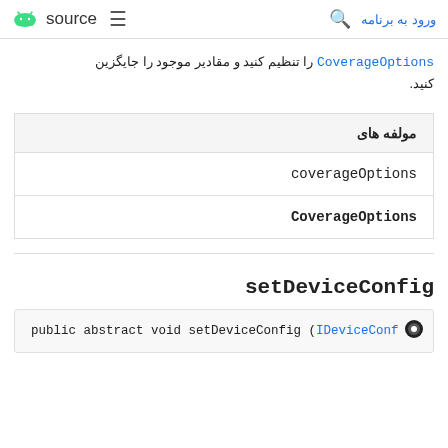ورود به برنامه   [search]   [android source logo]   [menu]
CoverageOptions را تنظیم کنید و مقادیر موجود را جایگزین کنید.
| مولفه های |
| --- |
| coverageOptions |
| CoverageOptions |
setDeviceConfig
public abstract void setDeviceConfig (IDeviceConf